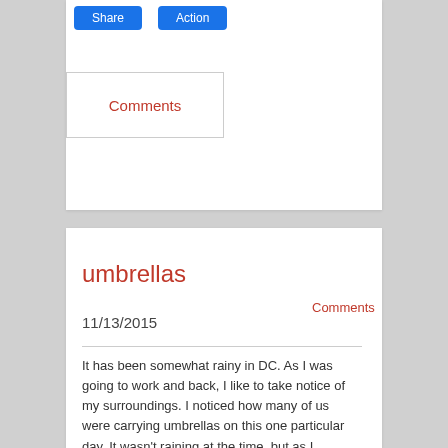[Figure (other): Two blue social share/action buttons at top of card]
Comments
umbrellas
Comments
11/13/2015
It has been somewhat rainy in DC. As I was going to work and back, I like to take notice of my surroundings. I noticed how many of us were carrying umbrellas on this one particular day. It wasn't raining at the time, but as I continued to walk, it got a little drizzly. Later on as it was raining, I noticed how different it was and how varying the